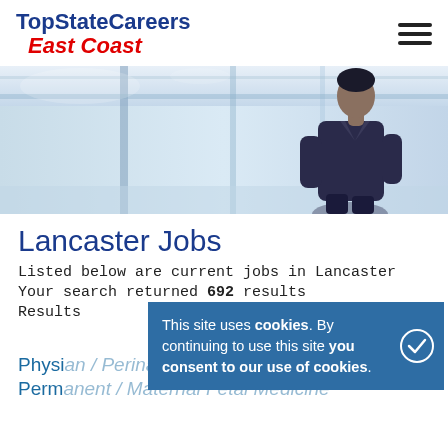TopStateCareers East Coast
[Figure (photo): Blurred background photo of a man in a suit walking in a modern glass building interior, blue-toned.]
Lancaster Jobs
Listed below are current jobs in Lancaster
Your search returned 692 results
Results
Physician / Perinatology / Pennsylvania / Permanent / Maternal Fetal Medicine
This site uses cookies. By continuing to use this site you consent to our use of cookies.